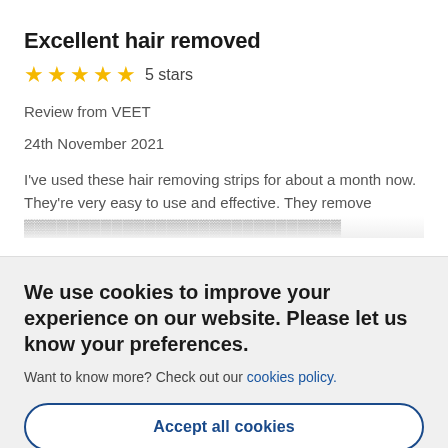Excellent hair removed
★★★★★ 5 stars
Review from VEET
24th November 2021
I've used these hair removing strips for about a month now. They're very easy to use and effective. They remove
We use cookies to improve your experience on our website. Please let us know your preferences.
Want to know more? Check out our cookies policy.
Accept all cookies
Manage cookies